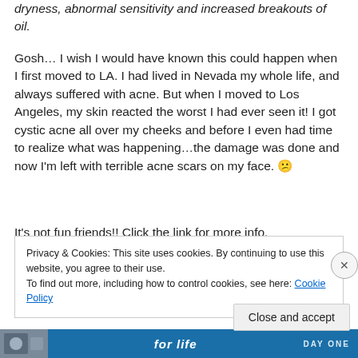dryness, abnormal sensitivity and increased breakouts of oil.
Gosh… I wish I would have known this could happen when I first moved to LA. I had lived in Nevada my whole life, and always suffered with acne. But when I moved to Los Angeles, my skin reacted the worst I had ever seen it! I got cystic acne all over my cheeks and before I even had time to realize what was happening…the damage was done and now I'm left with terrible acne scars on my face. 😕
It's not fun friends!! Click the link for more info.
Privacy & Cookies: This site uses cookies. By continuing to use this website, you agree to their use.
To find out more, including how to control cookies, see here: Cookie Policy
Close and accept
[Figure (illustration): Blue advertisement banner at bottom with image thumbnail on left, italic text 'for life' in center, and 'DAY ONE' text on right]